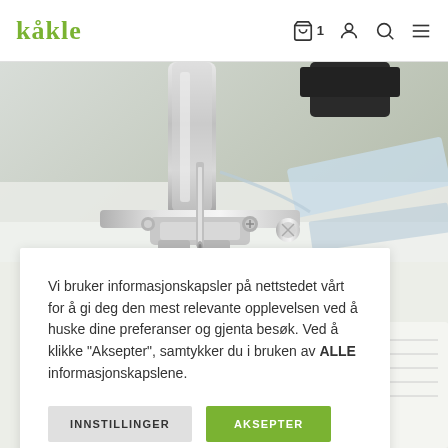kakle — navigation with cart (1), account, search, menu
[Figure (photo): Close-up macro photo of a sewing machine presser foot and needle on white fabric, with a light blue fabric piece and a notebook in the background]
Vi bruker informasjonskapsler på nettstedet vårt for å gi deg den mest relevante opplevelsen ved å huske dine preferanser og gjenta besøk. Ved å klikke "Aksepter", samtykker du i bruken av ALLE informasjonskapslene.
INNSTILLINGER
AKSEPTER